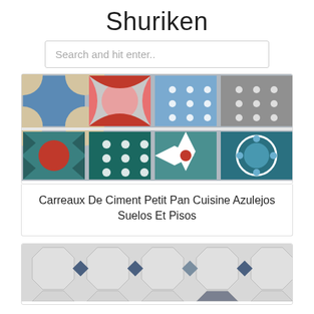Shuriken
Search and hit enter..
[Figure (photo): Colorful decorative cement tiles displayed on shelves — top row includes blue geometric, red and pink circle patterns, blue polka dots, and gray polka dot tiles; bottom row includes teal with red circle, teal polka dots, teal cross/star pattern, and teal with white circle sunburst tile]
Carreaux De Ciment Petit Pan Cuisine Azulejos Suelos Et Pisos
[Figure (photo): Octagonal floor tiles in light gray/white with small dark blue diamond accent tiles between them, photographed from above]